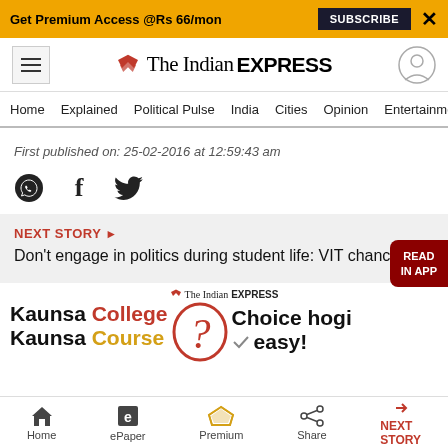Get Premium Access @Rs 66/mon  SUBSCRIBE  X
The Indian EXPRESS
Home  Explained  Political Pulse  India  Cities  Opinion  Entertainment
First published on: 25-02-2016 at 12:59:43 am
NEXT STORY ► Don't engage in politics during student life: VIT chancellor
[Figure (screenshot): The Indian EXPRESS advertisement: Kaunsa College Kaunsa Course Choice hogi easy!]
Home  ePaper  Premium  Share  NEXT STORY